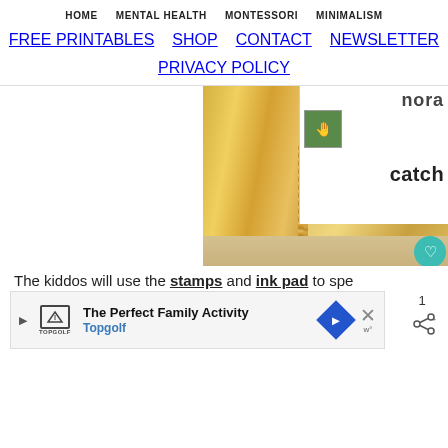HOME  MENTAL HEALTH  MONTESSORI  MINIMALISM  FREE PRINTABLES  SHOP  CONTACT  NEWSLETTER  PRIVACY POLICY
[Figure (photo): Close-up of a wooden frame corner with a white card showing the partial text 'nora' and 'catch' with a small thumbnail image of a child, mounted on a wood surface]
The kiddos will use the stamps and ink pad to spe
[Figure (infographic): Advertisement banner for Topgolf - The Perfect Family Activity]